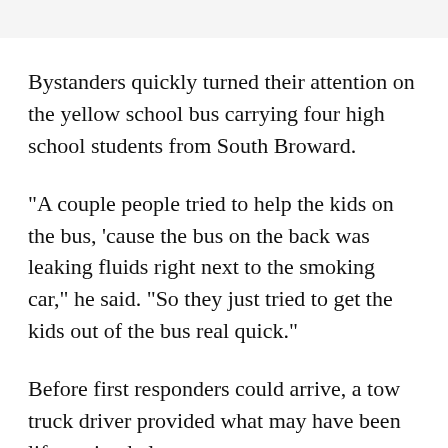Bystanders quickly turned their attention on the yellow school bus carrying four high school students from South Broward.
"A couple people tried to help the kids on the bus, 'cause the bus on the back was leaking fluids right next to the smoking car," he said. "So they just tried to get the kids out of the bus real quick."
Before first responders could arrive, a tow truck driver provided what may have been life-saving help.
"The van was smoking a lot and the tow truck was right next to the accident, and (the driver) brought out a fire extinguisher to blow out the smoke before it got worse." Also would be...